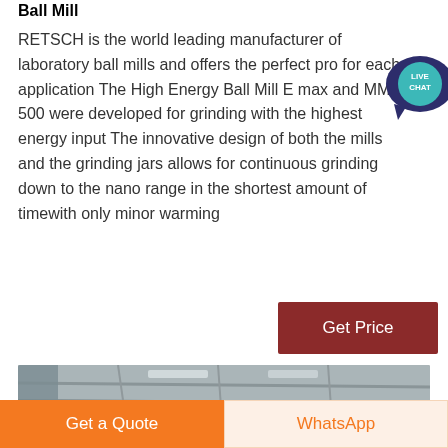Ball Mill
RETSCH is the world leading manufacturer of laboratory ball mills and offers the perfect pro for each application The High Energy Ball Mill E max and MM 500 were developed for grinding with the highest energy input The innovative design of both the mills and the grinding jars allows for continuous grinding down to the nano range in the shortest amount of timewith only minor warming
[Figure (screenshot): Live Chat button/badge overlay in top-right corner, dark blue speech bubble with 'LIVE CHAT' text in teal/green circle]
[Figure (other): Get Price button, dark red/maroon background with white text]
[Figure (photo): Partial photo of an industrial or laboratory interior, ceiling/roofing structure visible with lighting]
Get a Quote
WhatsApp